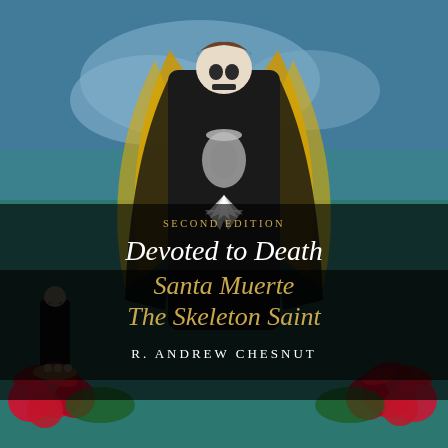[Figure (photo): Book cover photograph showing a large Santa Muerte (skeleton saint) figure dressed in an ornate black gown with gold angel wings painted in the background, flanked by red poinsettia flowers and a smaller Santa Muerte figurine on the left. The setting appears to be a devotional altar or shrine with a colorful mural backdrop.]
SECOND EDITION
Devoted to Death
Santa Muerte
The Skeleton Saint
R. ANDREW CHESNUT